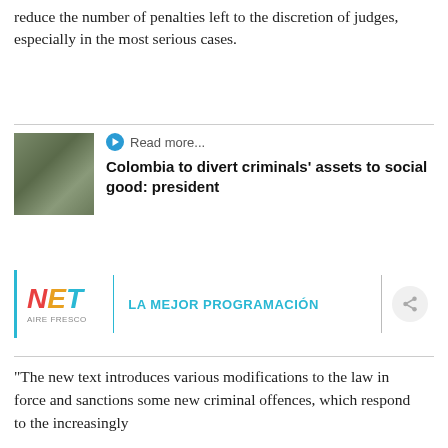reduce the number of penalties left to the discretion of judges, especially in the most serious cases.
[Figure (photo): Small thumbnail photo of a person in military or olive-colored clothing]
Read more...
Colombia to divert criminals' assets to social good: president
[Figure (logo): NET Aire Fresco advertisement banner with tagline LA MEJOR PROGRAMACIÓN]
"The new text introduces various modifications to the law in force and sanctions some new criminal offences, which respond to the increasingly